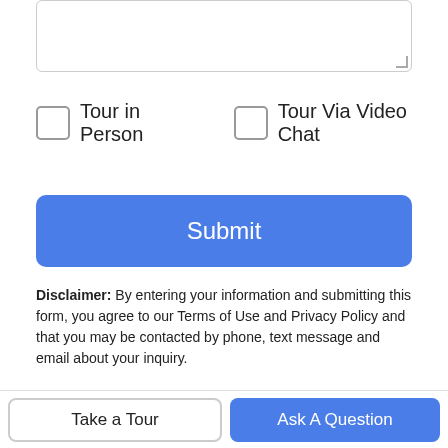[Figure (screenshot): Text area input box with resize handle at bottom-right corner]
Tour in Person
Tour Via Video Chat
Submit
Disclaimer: By entering your information and submitting this form, you agree to our Terms of Use and Privacy Policy and that you may be contacted by phone, text message and email about your inquiry.
© 2022 Pike/Wayne Association of Realtors®. All rights reserved. IDX information is provided exclusively for consumers' personal, non-commercial use and may not be used for any purpose other than to identify prospective properties consumers may be interested in purchasing. Information is deemed reliable but is not guaranteed accurate by the MLS or McAteer & Will Estates | Keller
Take a Tour
Ask A Question